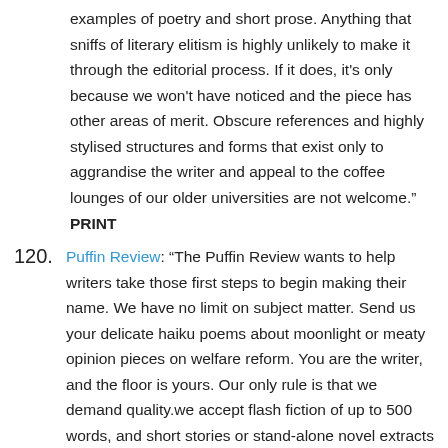examples of poetry and short prose. Anything that sniffs of literary elitism is highly unlikely to make it through the editorial process. If it does, it's only because we won't have noticed and the piece has other areas of merit. Obscure references and highly stylised structures and forms that exist only to aggrandise the writer and appeal to the coffee lounges of our older universities are not welcome." PRINT
120. Puffin Review: "The Puffin Review wants to help writers take those first steps to begin making their name. We have no limit on subject matter. Send us your delicate haiku poems about moonlight or meaty opinion pieces on welfare reform. You are the writer, and the floor is yours. Our only rule is that we demand quality.we accept flash fiction of up to 500 words, and short stories or stand-alone novel extracts of up to 3,000 words." EZINE
121. Pulp.net - short stories - on a break right now. EZINE
122. The Pygmy Giant - "an online home for UK flash fiction, non-fiction, poetry, and pretty much anything else under 800 words. We aim to publish something new on the site approx. every other day." EZINE